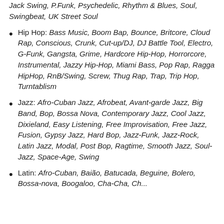Jack Swing, P.Funk, Psychedelic, Rhythm & Blues, Soul, Swingbeat, UK Street Soul
Hip Hop: Bass Music, Boom Bap, Bounce, Britcore, Cloud Rap, Conscious, Crunk, Cut-up/DJ, DJ Battle Tool, Electro, G-Funk, Gangsta, Grime, Hardcore Hip-Hop, Horrorcore, Instrumental, Jazzy Hip-Hop, Miami Bass, Pop Rap, Ragga HipHop, RnB/Swing, Screw, Thug Rap, Trap, Trip Hop, Turntablism
Jazz: Afro-Cuban Jazz, Afrobeat, Avant-garde Jazz, Big Band, Bop, Bossa Nova, Contemporary Jazz, Cool Jazz, Dixieland, Easy Listening, Free Improvisation, Free Jazz, Fusion, Gypsy Jazz, Hard Bop, Jazz-Funk, Jazz-Rock, Latin Jazz, Modal, Post Bop, Ragtime, Smooth Jazz, Soul-Jazz, Space-Age, Swing
Latin: Afro-Cuban, Baião, Batucada, Beguine, Bolero, Bossa-nova, Boogaloo, Cha-Cha, Cha...